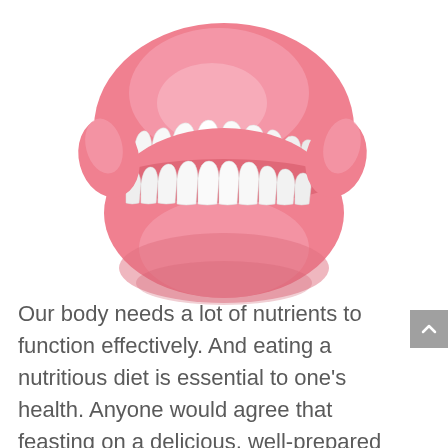[Figure (illustration): A pink dental denture (full set of upper and lower false teeth) on a white background. The denture has white artificial teeth set in a pink acrylic gum base.]
Our body needs a lot of nutrients to function effectively. And eating a nutritious diet is essential to one’s health. Anyone would agree that feasting on a delicious, well-prepared meal is one of